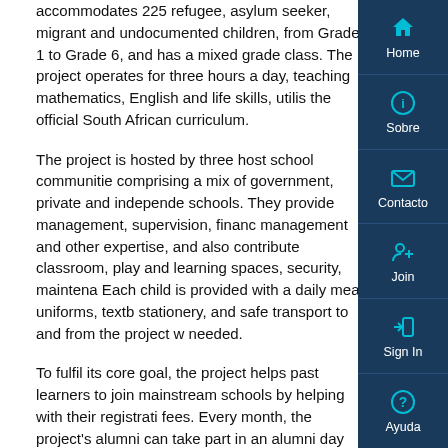accommodates 225 refugee, asylum seeker, migrant and undocumented children, from Grade 1 to Grade 6, and has a mixed grade class. The project operates for three hours a day, teaching mathematics, English and life skills, utilising the official South African curriculum.
The project is hosted by three host school communities comprising a mix of government, private and independent schools. They provide management, supervision, financial management and other expertise, and also contribute classroom, play and learning spaces, security, maintenance. Each child is provided with a daily meal, uniforms, textbooks, stationery, and safe transport to and from the project where needed.
To fulfil its core goal, the project helps past learners to join mainstream schools by helping with their registration fees. Every month, the project's alumni can take part in an alumni day where they are provided with homework support, sports, a meal and informal role models through engagement with the volunteers who run the program.